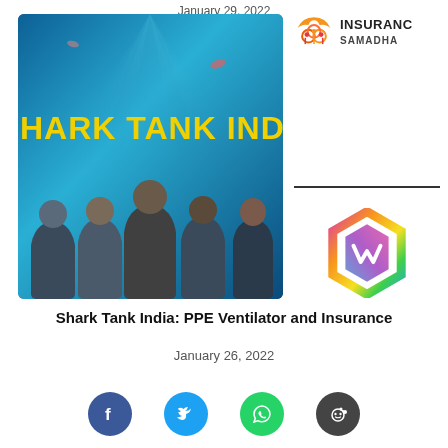January 29, 2022
[Figure (photo): Shark Tank India promotional image showing cast members in front of a blue ocean-themed background with the text 'HARK TANK INDIA' in yellow letters]
[Figure (logo): Insurance Samadha logo with orange umbrella icon and text INSURANC SAMADHA]
[Figure (logo): Colorful hexagonal logo with gradient colors (pink, orange, yellow, green, teal, blue) and a W-shaped symbol inside]
Shark Tank India: PPE Ventilator and Insurance
January 26, 2022
[Figure (infographic): Social media share buttons: Facebook (blue circle with f), Twitter (light blue circle with bird), WhatsApp (green circle with phone), Reddit (dark circle with alien logo)]